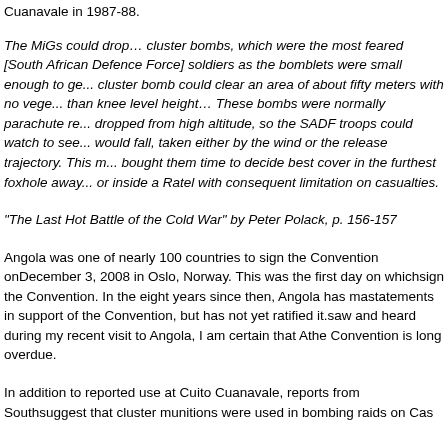Cuanavale in 1987-88.
The MiGs could drop… cluster bombs, which were the most feared [South African Defence Force] soldiers as the bomblets were small enough to get under a vehicle. A cluster bomb could clear an area of about fifty meters with no vegetation remaining taller than knee level height… These bombs were normally parachute retarded and dropped from high altitude, so the SADF troops could watch to see where they would fall, taken either by the wind or the release trajectory. This movement bought them time to decide best cover in the furthest foxhole away from the drop or inside a Ratel with consequent limitation on casualties.
"The Last Hot Battle of the Cold War" by Peter Polack, p. 156-157
Angola was one of nearly 100 countries to sign the Convention on December 3, 2008 in Oslo, Norway. This was the first day on which countries could sign the Convention. In the eight years since then, Angola has made numerous statements in support of the Convention, but has not yet ratified it. Based on what I saw and heard during my recent visit to Angola, I am certain that Angola's ratification of the Convention is long overdue.
In addition to reported use at Cuito Cuanavale, reports from South Africa suggest that cluster munitions were used in bombing raids on Cas